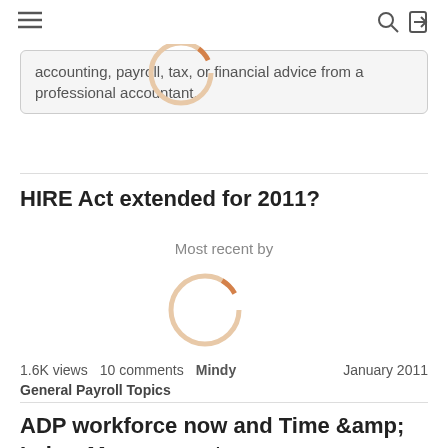☰  🔍  ⇥
accounting, payroll, tax, or financial advice from a professional accountant.
HIRE Act extended for 2011?
Most recent by
[Figure (other): Circular loading spinner, orange/tan color]
1.6K views   10 comments   Mindy   January 2011
General Payroll Topics
ADP workforce now and Time &amp; Labor Management
Most recent by
[Figure (other): Partial circular loading spinner, orange/tan color, partially visible at bottom]